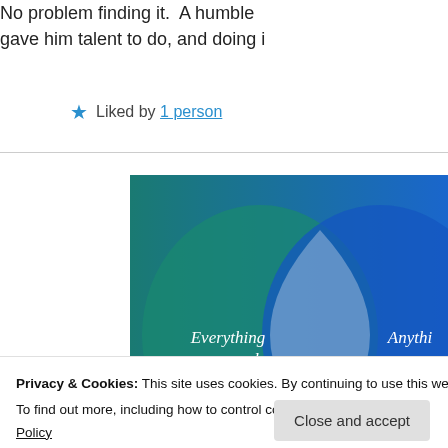No problem finding it. A humble [text cut off] gave him talent to do, and doing it
★ Liked by 1 person
[Figure (illustration): Venn diagram with teal/green and blue circles overlapping. Left circle text: 'Everything you need'. Right circle text (partially visible): 'Anything you wa...']
Privacy & Cookies: This site uses cookies. By continuing to use this website, you agree to their use. To find out more, including how to control cookies, see here: Cookie Policy
Close and accept